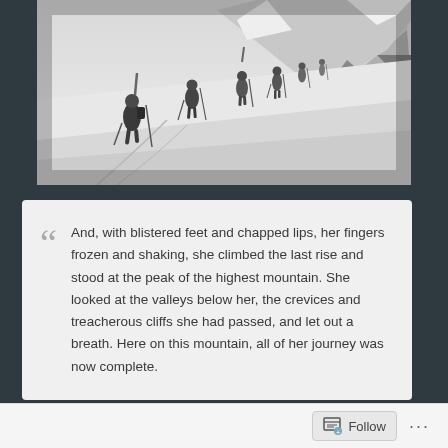[Figure (photo): Black and white vintage photograph of mountaineers/skiers climbing a snow-covered mountain slope in a line, carrying skis and poles, with a snowy peak and rocky outcrops in the background.]
And, with blistered feet and chapped lips, her fingers frozen and shaking, she climbed the last rise and stood at the peak of the highest mountain. She looked at the valleys below her, the crevices and treacherous cliffs she had passed, and let out a breath. Here on this mountain, all of her journey was now complete.
Follow ···